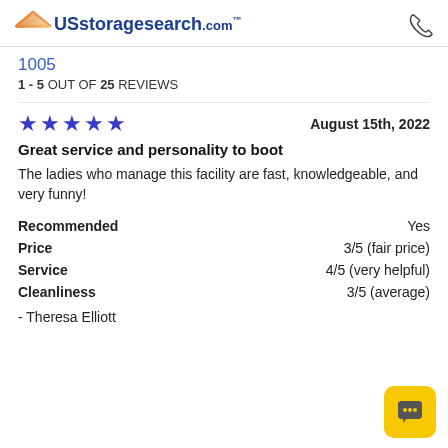USstoragesearch.com
1005
1 - 5 OUT OF 25 REVIEWS
★★★★★  August 15th, 2022
Great service and personality to boot
The ladies who manage this facility are fast, knowledgeable, and very funny!
| Category | Value |
| --- | --- |
| Recommended | Yes |
| Price | 3/5 (fair price) |
| Service | 4/5 (very helpful) |
| Cleanliness | 3/5 (average) |
- Theresa Elliott